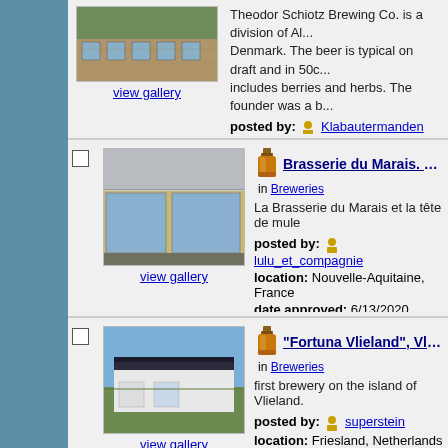[Figure (photo): Partial photo of a brick building with ivy, top section of a brewery]
view gallery
Theodor Schiotz Brewing Co. is a division of Al... Denmark. The beer is typical on draft and in 50c... includes berries and herbs. The founder was a b...
posted by: Klabautermanden
location: Denmark
date approved: 6/19/2020   last visited:
[Figure (photo): Photo of a building with large glass windows on a street, Brasserie du Marais]
view gallery
Brasserie du Marais. Coulon. Franc... in Breweries
La Brasserie du Marais et la tête de mule
posted by: lulu_et_compagnie
location: Nouvelle-Aquitaine, France
date approved: 6/13/2020   last visited:
[Figure (photo): Photo of a modern building with dark roof on grassy field, Fortuna Vlieland brewery]
view gallery
"Fortuna Vlieland", Vlieland - The N... in Breweries
first brewery on the island of Vlieland.
posted by: superstein
location: Friesland, Netherlands
date approved: 5/17/2020   last visited: